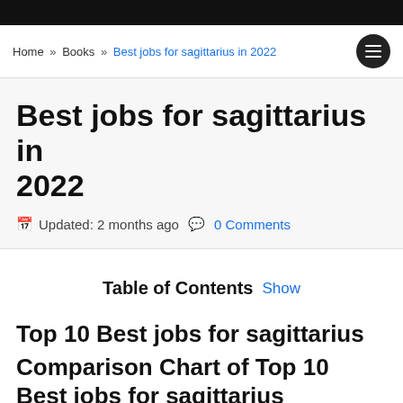Home » Books » Best jobs for sagittarius in 2022
Best jobs for sagittarius in 2022
Updated: 2 months ago  0 Comments
Table of Contents  Show
Top 10 Best jobs for sagittarius
Comparison Chart of Top 10 Best jobs for sagittarius